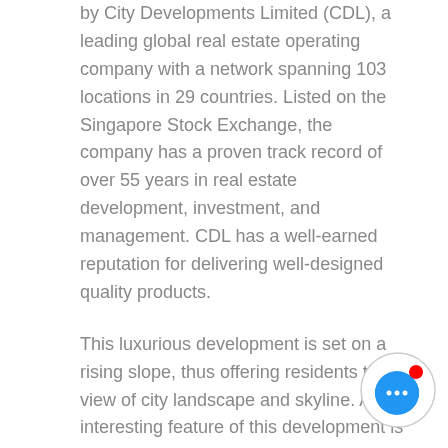by City Developments Limited (CDL), a leading global real estate operating company with a network spanning 103 locations in 29 countries. Listed on the Singapore Stock Exchange, the company has a proven track record of over 55 years in real estate development, investment, and management. CDL has a well-earned reputation for delivering well-designed quality products.
This luxurious development is set on a rising slope, thus offering residents the view of city landscape and skyline. An interesting feature of this development is the heritage house
[Figure (illustration): Chat button icon — blue speech bubble with three dots and a red notification dot, inside a light grey circle]